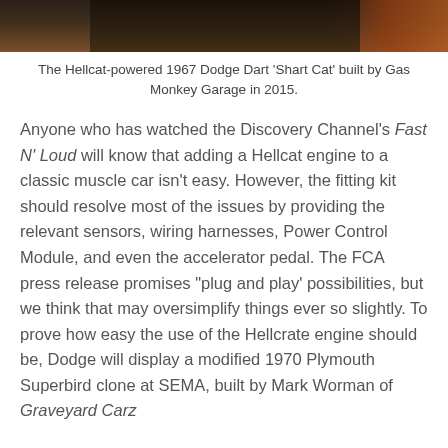[Figure (photo): Top portion of a photo showing the Hellcat-powered 1967 Dodge Dart 'Shart Cat' built by Gas Monkey Garage in 2015. The image is cropped, showing the upper part of a dark classic car against an orange/dark background.]
The Hellcat-powered 1967 Dodge Dart ‘Shart Cat’ built by Gas Monkey Garage in 2015.
Anyone who has watched the Discovery Channel’s Fast N’ Loud will know that adding a Hellcat engine to a classic muscle car isn’t easy. However, the fitting kit should resolve most of the issues by providing the relevant sensors, wiring harnesses, Power Control Module, and even the accelerator pedal. The FCA press release promises “plug and play’ possibilities, but we think that may oversimplify things ever so slightly. To prove how easy the use of the Hellcrate engine should be, Dodge will display a modified 1970 Plymouth Superbird clone at SEMA, built by Mark Worman of Graveyard Carz